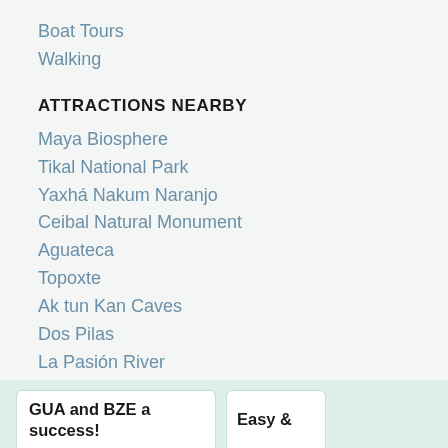Boat Tours
Walking
ATTRACTIONS NEARBY
Maya Biosphere
Tikal National Park
Yaxhá Nakum Naranjo
Ceibal Natural Monument
Aguateca
Topoxte
Ak tun Kan Caves
Dos Pilas
La Pasión River
Lake Peten Itza
Natural Park Ixpanpajul
Uaxactun
GUA and BZE a success!
Easy &